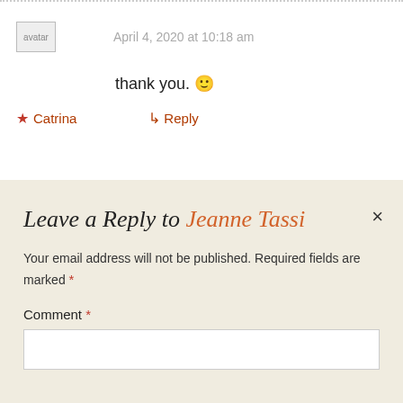April 4, 2020 at 10:18 am
thank you. 🙂
★ Catrina
↳ Reply
Leave a Reply to Jeanne Tassi
Your email address will not be published. Required fields are marked *
Comment *